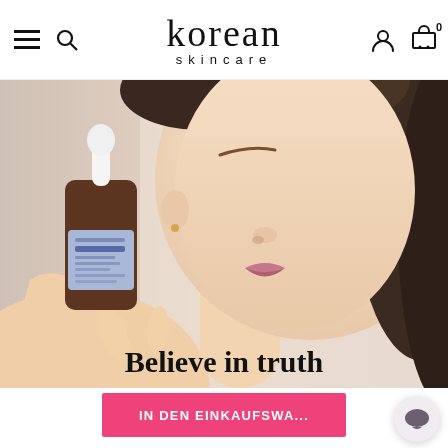korean skincare
[Figure (photo): Woman holding a dark brown dropper bottle of skincare serum (Mary & May brand with blue label) against her cheek. She has smooth glowing skin and straight dark hair. Background is light beige/white. Text overlay at bottom reads 'Believe in truth'.]
Believe in truth
IN DEN EINKAUFSWA...